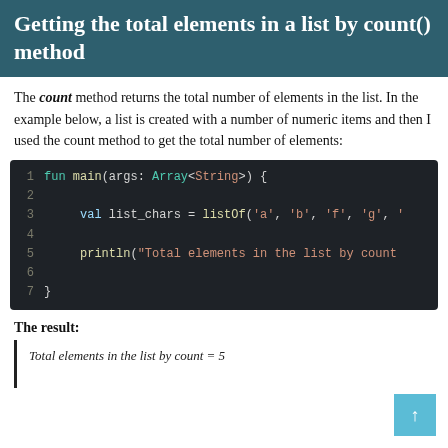Getting the total elements in a list by count() method
The count method returns the total number of elements in the list. In the example below, a list is created with a number of numeric items and then I used the count method to get the total number of elements:
[Figure (screenshot): Kotlin code block showing fun main with list_chars defined using listOf and println of total elements by count]
The result:
Total elements in the list by count = 5